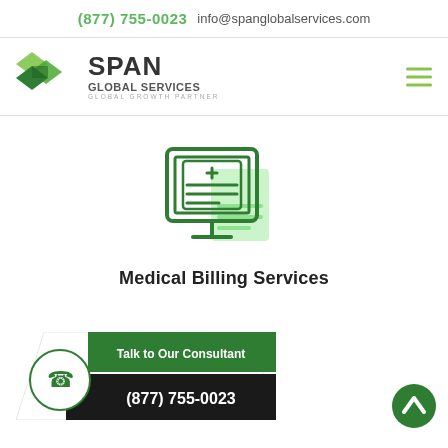(877) 755-0023   info@spanglobalservices.com
[Figure (logo): Span Global Services logo with two overlapping green diamond shapes and text SPAN GLOBAL SERVICES GLOBAL GROWTH PARTNER]
[Figure (illustration): Medical billing icon: a monitor/computer screen displaying a document with a plus sign and horizontal lines, with a shadow document behind it, in dark green and light green colors]
Medical Billing Services
[Figure (infographic): Talk to Our Consultant banner with phone icon, green and dark background, showing text Talk to Our Consultant and phone number (877) 755-0023]
[Figure (other): Green circular back-to-top arrow button on the right side]